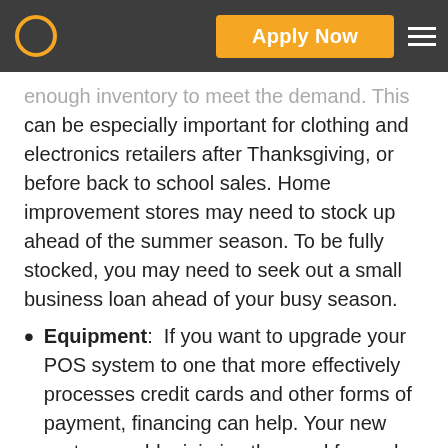Apply Now
enough inventory to meet the demand. This can be especially important for clothing and electronics retailers after Thanksgiving, or before back to school sales. Home improvement stores may need to stock up ahead of the summer season. To be fully stocked, you may need to seek out a small business loan ahead of your busy season.
Equipment:  If you want to upgrade your POS system to one that more effectively processes credit cards and other forms of payment, financing can help. Your new system could minimize the need for cash handling and reduce line delays.